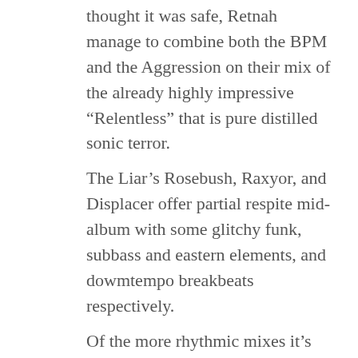thought it was safe, Retnah manage to combine both the BPM and the Aggression on their mix of the already highly impressive “Relentless” that is pure distilled sonic terror. The Liar’s Rosebush, Raxyor, and Displacer offer partial respite mid-album with some glitchy funk, subbass and eastern elements, and dowmtempo breakbeats respectively. Of the more rhythmic mixes it’s Grenadier, Manufactura and Andraculoid that impress. Grenadier turn “Arrhythmia” into a futuristic death march while Karloz drenches “Moment Of Comprehension” in his familiar horror atmospherics which evoke images of John Carpenter sitting down to construct a rhythmic noise track. Andraculoid turn in the possible highlight of the album in which the (non-“[vis.cer.a]”) track “Minaire”